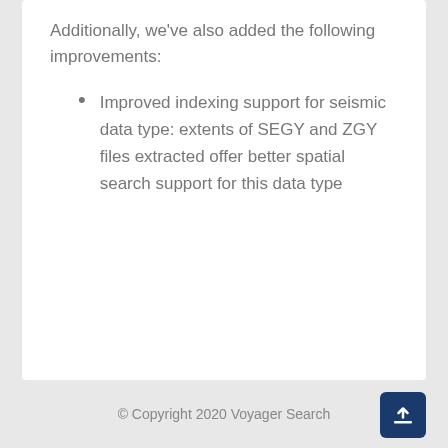Additionally, we've also added the following improvements:
Improved indexing support for seismic data type: extents of SEGY and ZGY files extracted offer better spatial search support for this data type
© Copyright 2020 Voyager Search